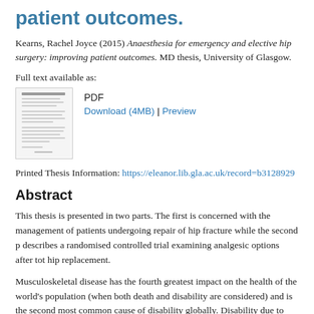patient outcomes.
Kearns, Rachel Joyce (2015) Anaesthesia for emergency and elective hip surgery: improving patient outcomes. MD thesis, University of Glasgow.
Full text available as:
[Figure (other): Thumbnail image of PDF document first page]
PDF
Download (4MB) | Preview
Printed Thesis Information: https://eleanor.lib.gla.ac.uk/record=b3128929
Abstract
This thesis is presented in two parts. The first is concerned with the management of patients undergoing repair of hip fracture while the second p describes a randomised controlled trial examining analgesic options after tot hip replacement.
Musculoskeletal disease has the fourth greatest impact on the health of the world's population (when both death and disability are considered) and is the second most common cause of disability globally. Disability due to